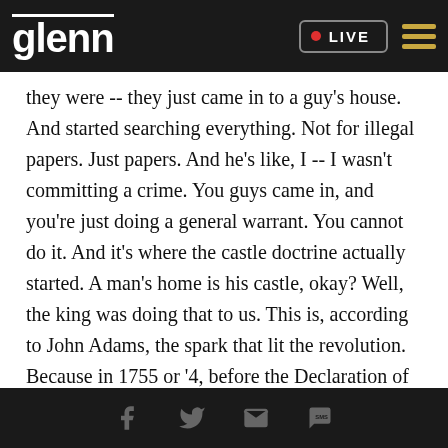glenn  • LIVE
they were -- they just came in to a guy's house. And started searching everything. Not for illegal papers. Just papers. And he's like, I -- I wasn't committing a crime. You guys came in, and you're just doing a general warrant. You cannot do it. And it's where the castle doctrine actually started. A man's home is his castle, okay? Well, the king was doing that to us. This is, according to John Adams, the spark that lit the revolution. Because in 1755 or '4, before the Declaration of Independence, let's leave it at that one. Do your own homework. I urge you. But, anyway, the king just said, general warrants. And so
Facebook  Twitter  Email  SMS